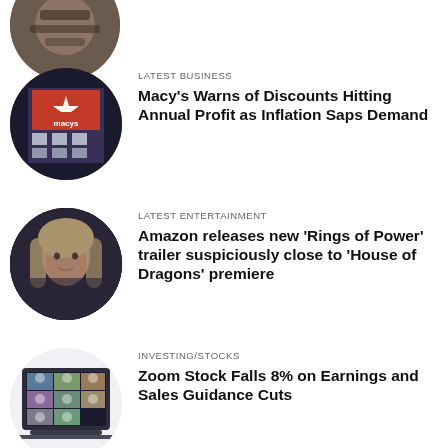[Figure (photo): Partial circular cropped photo at top of page, cut off]
[Figure (photo): Circular cropped photo of Macy's store sign with red star logo lit up at night]
LATEST BUSINESS
Macy’s Warns of Discounts Hitting Annual Profit as Inflation Saps Demand
[Figure (photo): Circular cropped photo of a woman with blonde hair, dramatic lighting, fantasy/drama show still]
LATEST ENTERTAINMENT
Amazon releases new ‘Rings of Power’ trailer suspiciously close to ‘House of Dragons’ premiere
[Figure (photo): Circular cropped photo of a laptop screen showing a video call with multiple participants in a grid]
INVESTING/STOCKS
Zoom Stock Falls 8% on Earnings and Sales Guidance Cuts